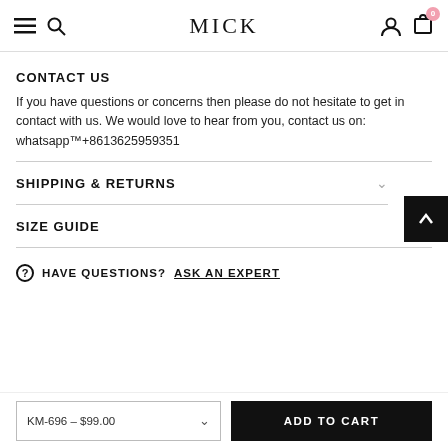MICK — navigation bar with hamburger menu, search, user icon, cart (0)
CONTACT US
If you have questions or concerns then please do not hesitate to get in contact with us. We would love to hear from you, contact us on: whatsapp️+8613625959351
SHIPPING & RETURNS
SIZE GUIDE
HAVE QUESTIONS? ASK AN EXPERT
KM-696 – $99.00  ADD TO CART